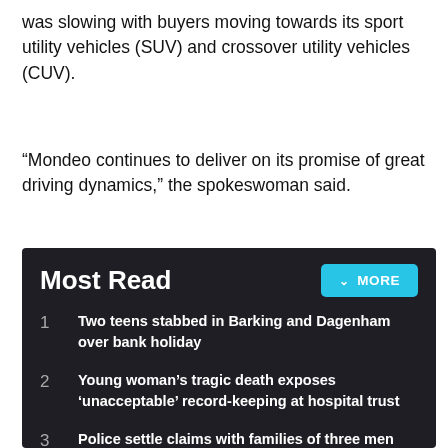was slowing with buyers moving towards its sport utility vehicles (SUV) and crossover utility vehicles (CUV).
“Mondeo continues to deliver on its promise of great driving dynamics,” the spokeswoman said.
Most Read
Two teens stabbed in Barking and Dagenham over bank holiday
Young woman’s tragic death exposes ‘unacceptable’ record-keeping at hospital trust
Police settle claims with families of three men murdered by Stephen Port
Receive the top news, sport and things to do, sent to your inbox every Tuesday.